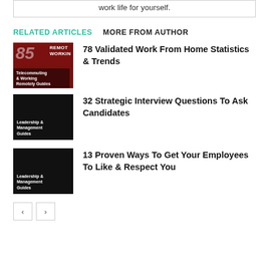work life for yourself.
RELATED ARTICLES   MORE FROM AUTHOR
[Figure (illustration): Thumbnail image for '78 Validated Work From Home Statistics & Trends' — dark red background with large italic '85', text 'REMOTE WORKING' and label 'Telecommuting & Working Remotely Guides']
78 Validated Work From Home Statistics & Trends
[Figure (illustration): Thumbnail image for '32 Strategic Interview Questions To Ask Candidates' — black background with label 'Leadership & Management Guides']
32 Strategic Interview Questions To Ask Candidates
[Figure (illustration): Thumbnail image for '13 Proven Ways To Get Your Employees To Like & Respect You' — black background with label 'Leadership & Management Guides']
13 Proven Ways To Get Your Employees To Like & Respect You